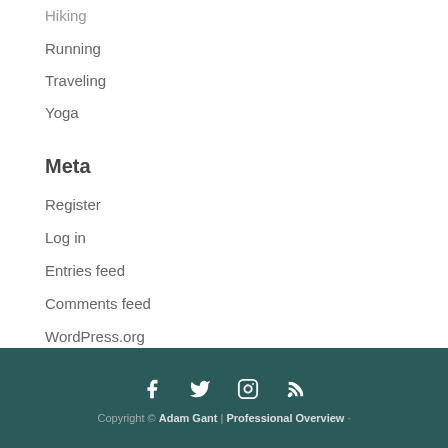Hiking
Running
Traveling
Yoga
Meta
Register
Log in
Entries feed
Comments feed
WordPress.org
Copyright © Adam Gant | Professional Overview · 2016 · all..